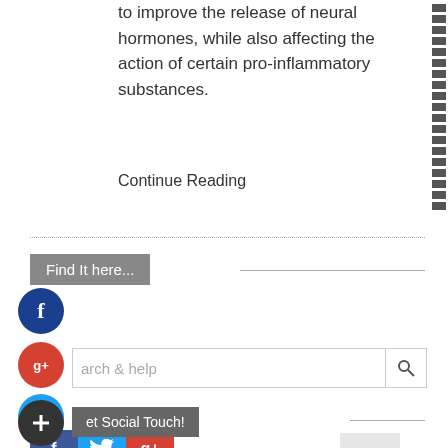to improve the release of neural hormones, while also affecting the action of certain pro-inflammatory substances.
Continue Reading
[Figure (screenshot): Search bar UI element with label 'Find It here...' and a horizontal line]
[Figure (screenshot): Social media icons: Facebook (blue circle), Google+ (red circle), Twitter (blue circle), and 'Get Social Touch!' button with plus circle icon, followed by bottom social media icon bar with Facebook, Twitter, Google+]